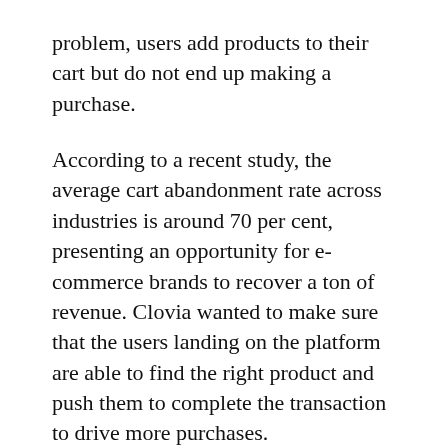problem, users add products to their cart but do not end up making a purchase.
According to a recent study, the average cart abandonment rate across industries is around 70 per cent, presenting an opportunity for e-commerce brands to recover a ton of revenue. Clovia wanted to make sure that the users landing on the platform are able to find the right product and push them to complete the transaction to drive more purchases.
They realised that there could be endless reasons why a user doesn't convert. One thing that is certain is that those who add items to the cart have a strong buying intent. Sometimes all they need is